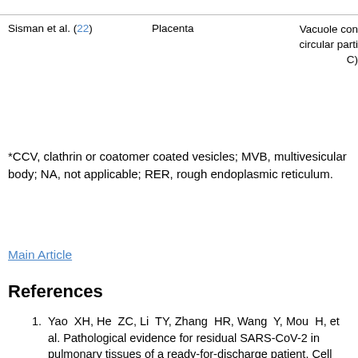| Author | Tissue | Finding |
| --- | --- | --- |
| Sisman et al. (22) | Placenta | Vacuole con circular parti C) |
*CCV, clathrin or coatomer coated vesicles; MVB, multivesicular body; NA, not applicable; RER, rough endoplasmic reticulum.
Main Article
References
1. Yao XH, He ZC, Li TY, Zhang HR, Wang Y, Mou H, et al. Pathological evidence for residual SARS-CoV-2 in pulmonary tissues of a ready-for-discharge patient. Cell Res. 2020;30:541–3. DOI PubMed Google Scholar
2. Pesaresi M, Pirani F, Tagliabracci A, Valsecchi